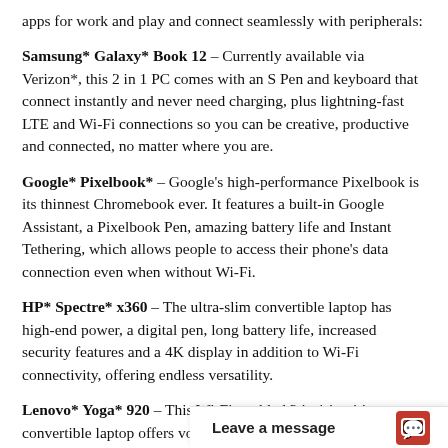apps for work and play and connect seamlessly with peripherals:
Samsung* Galaxy* Book 12 – Currently available via Verizon*, this 2 in 1 PC comes with an S Pen and keyboard that connect instantly and never need charging, plus lightning-fast LTE and Wi-Fi connections so you can be creative, productive and connected, no matter where you are.
Google* Pixelbook* – Google's high-performance Pixelbook is its thinnest Chromebook ever. It features a built-in Google Assistant, a Pixelbook Pen, amazing battery life and Instant Tethering, which allows people to access their phone's data connection even when without Wi-Fi.
HP* Spectre* x360 – The ultra-slim convertible laptop has high-end power, a digital pen, long battery life, increased security features and a 4K display in addition to Wi-Fi connectivity, offering endless versatility.
Lenovo* Yoga* 920 – This Wi-Fi-enabled 2 in 1 intuitive convertible laptop offers voice-activated support, a digital pen option, top performance and speed, and a 4K screen. Its Constant Connect feature downloads emails, plays music and receives Skype* calls – even in stan
PCs put powerful creative